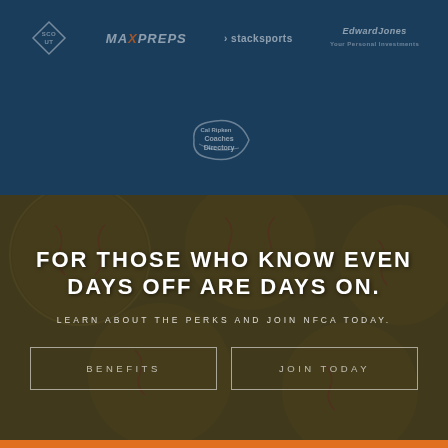[Figure (logo): Sponsor logos row: Scout (diamond logo), MaxPreps, stacksports, Edward Jones on dark blue background]
[Figure (logo): Cal Ripken Coaches Directory logo centered on dark blue background]
[Figure (photo): Background photo of softballs/baseballs with dark olive/gold tint overlay]
FOR THOSE WHO KNOW EVEN DAYS OFF ARE DAYS ON.
LEARN ABOUT THE PERKS AND JOIN NFCA TODAY.
BENEFITS
JOIN TODAY